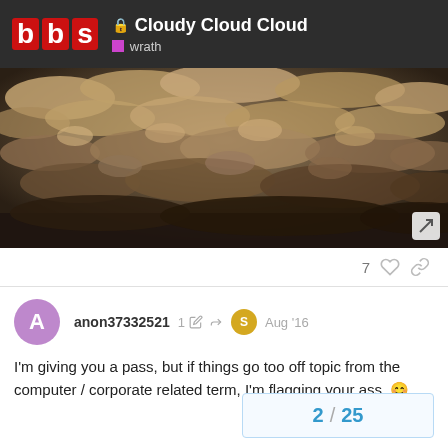Cloudy Cloud Cloud — wrath
[Figure (photo): Aerial photograph of a dense layer of altocumulus clouds viewed from above, with warm golden-brown tones, stretching across the entire frame.]
7 ♡ 🔗
anon37332521  1 ✏  ➤  S  Aug '16
I'm giving you a pass, but if things go too off topic from the computer / corporate related term, I'm flagging your ass. 😊
2 / 25